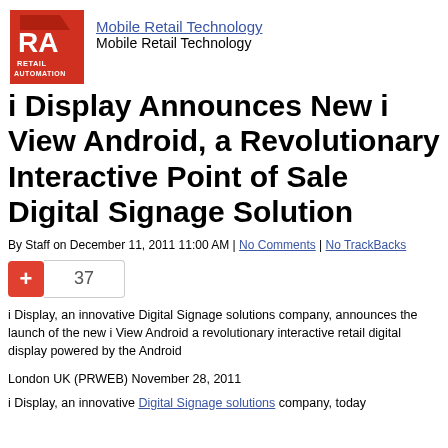[Figure (logo): Retail Automation (RA) logo — red/white square logo with white RA letters and RETAIL AUTOMATION text]
Mobile Retail Technology
Mobile Retail Technology
i Display Announces New i View Android, a Revolutionary Interactive Point of Sale Digital Signage Solution
By Staff on December 11, 2011 11:00 AM | No Comments | No TrackBacks
[Figure (infographic): Red plus button and vote count showing 37]
i Display, an innovative Digital Signage solutions company, announces the launch of the new i View Android a revolutionary interactive retail digital display powered by the Android
London UK (PRWEB) November 28, 2011
i Display, an innovative Digital Signage solutions company, today